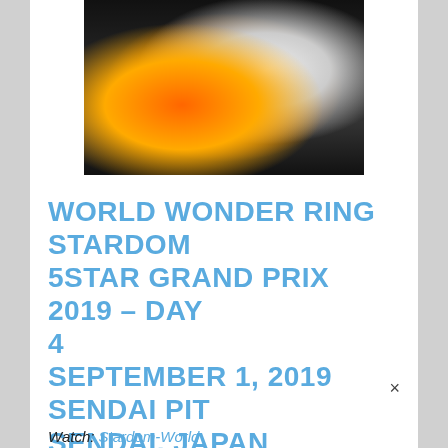[Figure (photo): Two female wrestlers in action, one in orange outfit and one in white/silver outfit, grappling in a wrestling ring with dark background]
WORLD WONDER RING STARDOM 5STAR GRAND PRIX 2019 – DAY 4 SEPTEMBER 1, 2019 SENDAI PIT SENDAI, JAPAN
Watch: Stardom-World